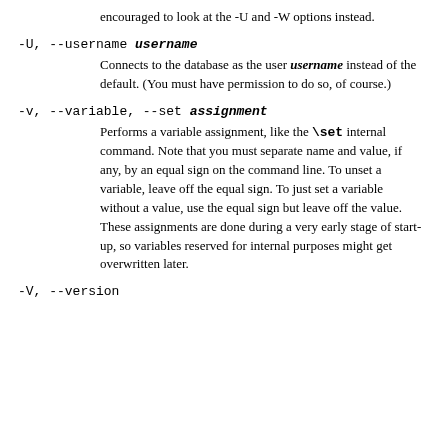encouraged to look at the -U and -W options instead.
-U, --username username

Connects to the database as the user username instead of the default. (You must have permission to do so, of course.)
-v, --variable, --set assignment

Performs a variable assignment, like the \set internal command. Note that you must separate name and value, if any, by an equal sign on the command line. To unset a variable, leave off the equal sign. To just set a variable without a value, use the equal sign but leave off the value. These assignments are done during a very early stage of start-up, so variables reserved for internal purposes might get overwritten later.
-V, --version